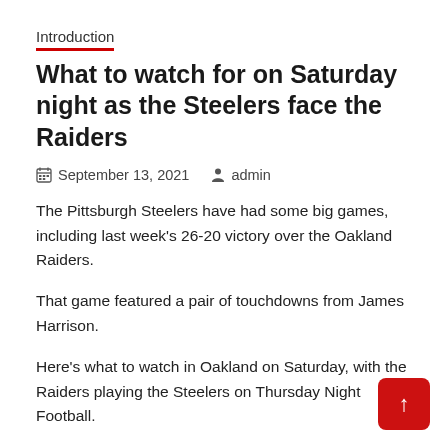Introduction
What to watch for on Saturday night as the Steelers face the Raiders
September 13, 2021   admin
The Pittsburgh Steelers have had some big games, including last week's 26-20 victory over the Oakland Raiders.
That game featured a pair of touchdowns from James Harrison.
Here's what to watch in Oakland on Saturday, with the Raiders playing the Steelers on Thursday Night Football.
Ahead of the game The Steelers are facing the Raiders on Thursday night, and a pair or three of touchdowns in